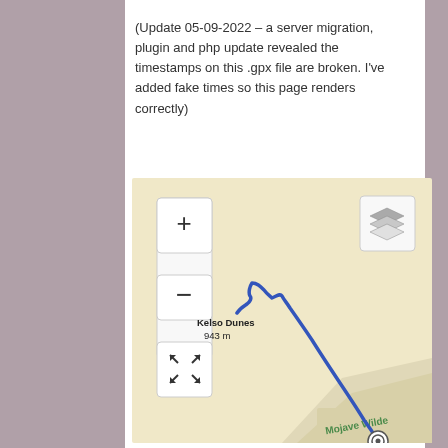(Update 05-09-2022 – a server migration, plugin and php update revealed the timestamps on this .gpx file are broken. I've added fake times so this page renders correctly)
[Figure (map): Interactive map showing a GPS track route from Kelso Dunes (943 m elevation) winding south-east to a point on Mojave Wilderness road. The map has a beige/tan background with map controls (zoom in +, zoom out -, fullscreen) on the upper left, and a layers button on the upper right. The GPS route is drawn as a blue line.]